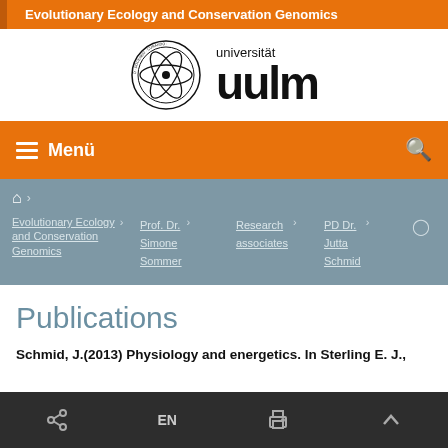Evolutionary Ecology and Conservation Genomics
[Figure (logo): Universität Ulm logo with atomic orbital seal and 'universität ulm' wordmark]
Menü
🏠 › Evolutionary Ecology and Conservation Genomics › Prof. Dr. Simone Sommer › Research associates › PD Dr. Jutta Schmid ›
Publications
Schmid, J.(2013) Physiology and energetics. In Sterling E. J.,